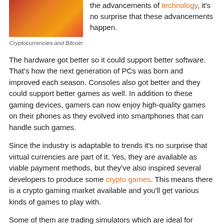[Figure (photo): Photo of a person holding or wearing a Bitcoin/cryptocurrency coin or medal, with reddish-orange tones]
Cryptocurrencies and Bitcoin
the advancements of technology, it's no surprise that these advancements happen.
The hardware got better so it could support better software. That's how the next generation of PCs was born and improved each season. Consoles also got better and they could support better games as well. In addition to these gaming devices, gamers can now enjoy high-quality games on their phones as they evolved into smartphones that can handle such games.
Since the industry is adaptable to trends it's no surprise that virtual currencies are part of it. Yes, they are available as viable payment methods, but they've also inspired several developers to produce some crypto games. This means there is a crypto gaming market available and you'll get various kinds of games to play with.
Some of them are trading simulators which are ideal for aspiring crypto traders that don't have the skills to trade. If you're looking for